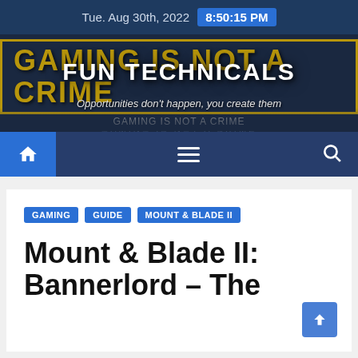Tue. Aug 30th, 2022  8:50:15 PM
[Figure (logo): Fun Technicals gaming website banner with 'GAMING IS NOT A CRIME' background text in gold, site title 'FUN TECHNICALS' in white bold, tagline 'Opportunities don't happen, you create them']
[Figure (screenshot): Navigation bar with home icon (highlighted blue), hamburger menu icon, and search icon on dark blue background]
GAMING  GUIDE  MOUNT & BLADE II
Mount & Blade II: Bannerlord – The